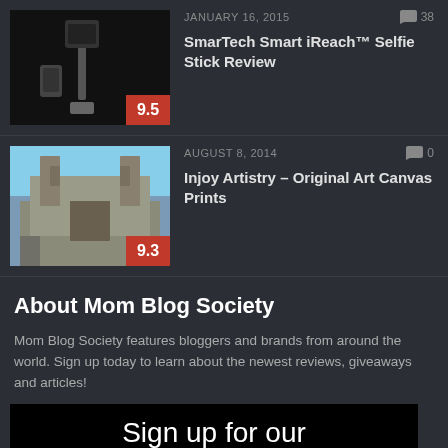[Figure (photo): Thumbnail image of selfie stick/accessories on dark background with rating badge 9.5]
JANUARY 16, 2015
38
SmarTech Smart iReach™ Selfie Stick Review
[Figure (photo): Thumbnail image of a castle/palace with blue sky and clouds, with rating badge 9.3]
AUGUST 8, 2014
0
Injoy Artistry – Original Art Canvas Prints
About Mom Blog Society
Mom Blog Society features bloggers and brands from around the world. Sign up today to learn about the newest reviews, giveaways and articles!
[Figure (infographic): Newsletter signup banner: black background with white text 'Sign up for our', white text 'Brands - PR's - Readers', and large orange text 'Newsletter']